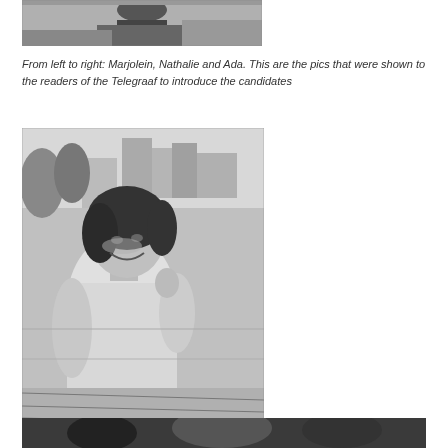[Figure (photo): Top portion of a black-and-white newspaper photo, partial view of a person, cropped at the bottom edge]
From left to right: Marjolein, Nathalie and Ada. This are the pics that were shown to the readers of the Telegraaf to introduce the candidates
[Figure (photo): Black-and-white newspaper photo of a young smiling woman with dark shoulder-length hair, sitting on what appears to be a bench, outdoors with buildings in the background]
[Figure (photo): Bottom portion of a black-and-white newspaper photo, partially visible at the bottom edge of the page]